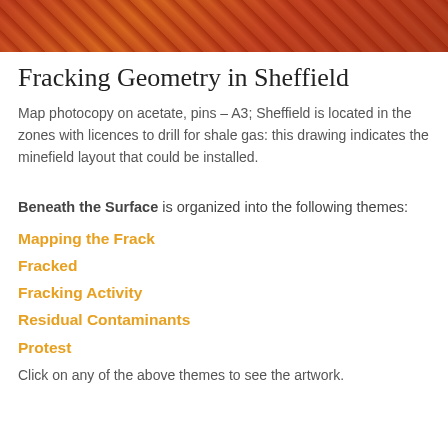[Figure (photo): A photograph strip showing abstract red and orange tones, likely a close-up of artwork or natural material.]
Fracking Geometry in Sheffield
Map photocopy on acetate, pins – A3; Sheffield is located in the zones with licences to drill for shale gas: this drawing indicates the minefield layout that could be installed.
Beneath the Surface is organized into the following themes:
Mapping the Frack
Fracked
Fracking Activity
Residual Contaminants
Protest
Click on any of the above themes to see the artwork.